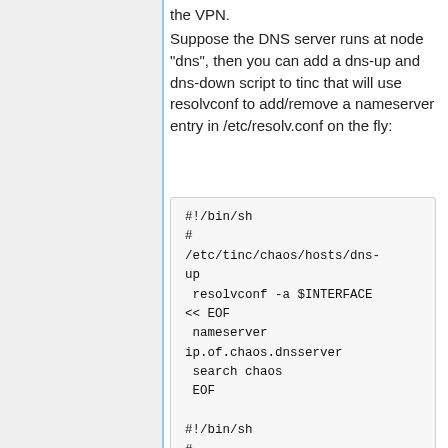the VPN.
Suppose the DNS server runs at node "dns", then you can add a dns-up and dns-down script to tinc that will use resolvconf to add/remove a nameserver entry in /etc/resolv.conf on the fly:
#!/bin/sh
#
/etc/tinc/chaos/hosts/dns-up
 resolvconf -a $INTERFACE << EOF
 nameserver ip.of.chaos.dnsserver
 search chaos
 EOF

#!/bin/sh
#
/etc/tinc/chaos/hosts/dns-down
 resolvconf -d $INTERFACE